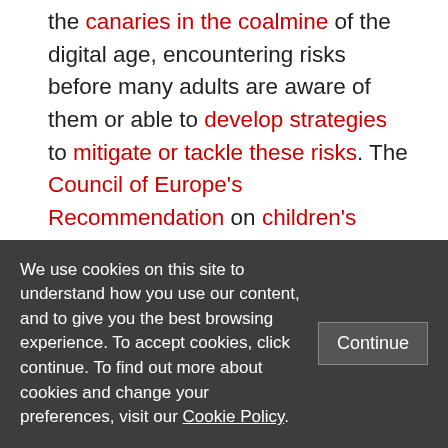the canaries in the coalmine of the digital age, encountering risks before many adults are aware of them or able to develop strategies to mitigate or tackle these risks. The Council of Europe's Recommendation on children's rights in the digital environment is a noteworthy advance in recognising children's specific needs in relation to provision, design and regulation, as is the UK ICO's recent consultation on an
We use cookies on this site to understand how you use our content, and to give you the best browsing experience. To accept cookies, click continue. To find out more about cookies and change your preferences, visit our Cookie Policy.